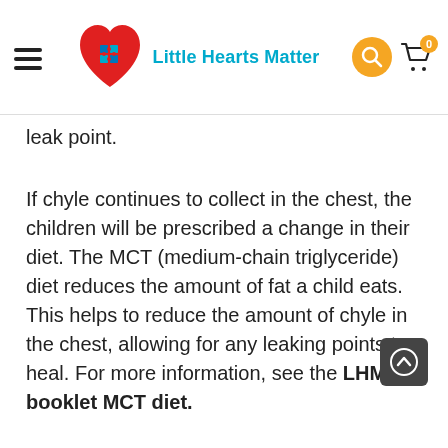Little Hearts Matter
leak point.
If chyle continues to collect in the chest, the children will be prescribed a change in their diet. The MCT (medium-chain triglyceride) diet reduces the amount of fat a child eats. This helps to reduce the amount of chyle in the chest, allowing for any leaking points to heal. For more information, see the LHM booklet MCT diet.
High blood pressure in the lungs
The need to change the way that blood flows